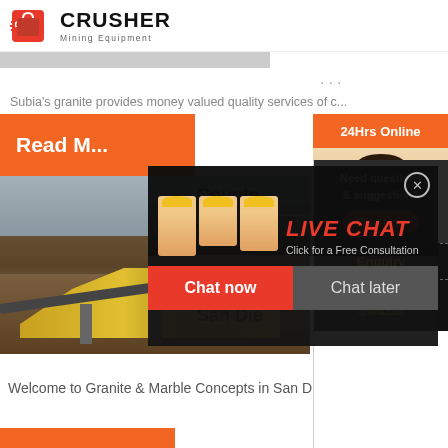CRUSHER Mining Equipment
[Figure (screenshot): Partial image strip at top of page content]
...
Subia's granite provides money valued quality services of c...
[Figure (photo): Orange 'Read M...' button and mining equipment photo showing conveyor belt machinery]
[Figure (screenshot): Live Chat popup overlay with workers in hard hats, LIVE CHAT title in red, Click for a Free Consultation, Chat now and Chat later buttons]
[Figure (photo): Customer service representative with headset on right side]
Counte
Granite
Counte
San Die
[Figure (infographic): Sidebar with Need questions & suggestion? box, Chat Now button, Enquiry section, and limingjlmofen@sina.com email]
Welcome to Granite & Marble Concepts in San D...